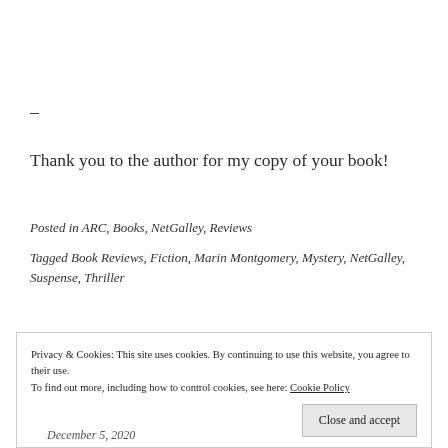–
Thank you to the author for my copy of your book!
Posted in ARC, Books, NetGalley, Reviews
Tagged Book Reviews, Fiction, Marin Montgomery, Mystery, NetGalley, Suspense, Thriller
Privacy & Cookies: This site uses cookies. By continuing to use this website, you agree to their use.
To find out more, including how to control cookies, see here: Cookie Policy
Close and accept
December 5, 2020